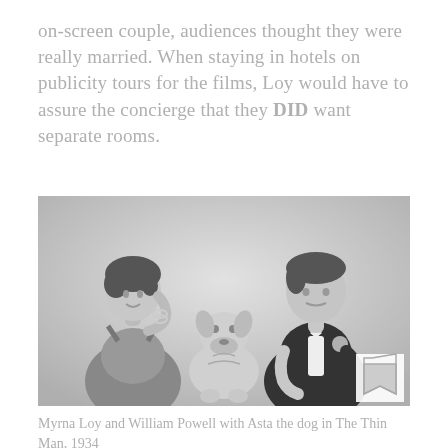on-screen couple, audiences thought they were really married. When staying in hotels on publicity tours for the films, Loy would have to assure the concierge that they DID want separate rooms.
[Figure (photo): Black and white photograph of Myrna Loy and William Powell with Asta the dog from The Thin Man, 1934. The woman is on the left wearing an elegant dress with bracelets, the terrier dog is in the center, and the man is on the right in a tuxedo with boutonniere.]
Myrna Loy and William Powell with Asta the dog in The Thin Man, 1934